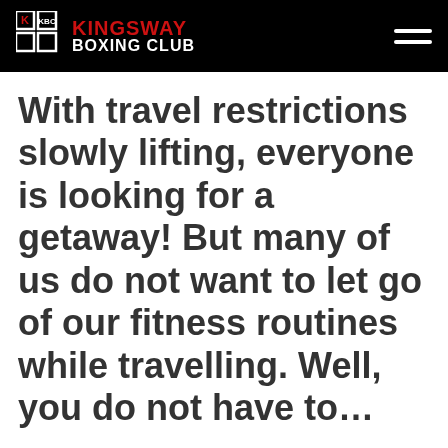Kingsway Boxing Club
With travel restrictions slowly lifting, everyone is looking for a getaway! But many of us do not want to let go of our fitness routines while travelling. Well, you do not have to…